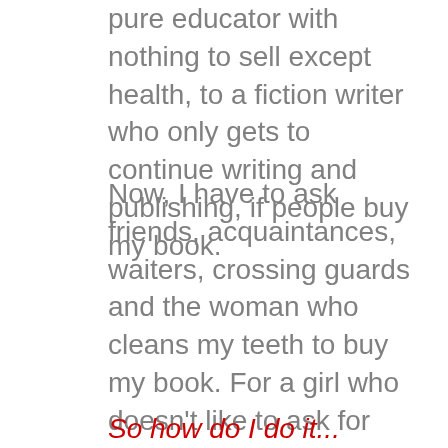pure educator with nothing to sell except health, to a fiction writer who only gets to continue writing and publishing, if people buy my book.
Now, I have to ask friends, acquaintances, waiters, crossing guards and the woman who cleans my teeth to buy my book. For a girl who doesn't like to ask for help, hates conversations about money, and generally sweats during all bank transactions, it's misery.
So how do I do it...